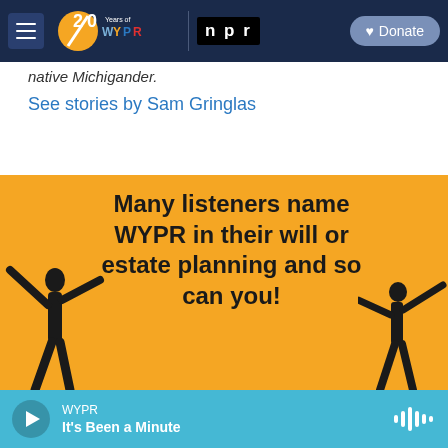[Figure (screenshot): WYPR 20 Years of WYPR and NPR navigation bar with hamburger menu and Donate button]
native Michigander.
See stories by Sam Gringlas
[Figure (illustration): Yellow advertisement banner: Many listeners name WYPR in their will or estate planning and so can you! with silhouette figures on left and right]
WYPR | It's Been a Minute